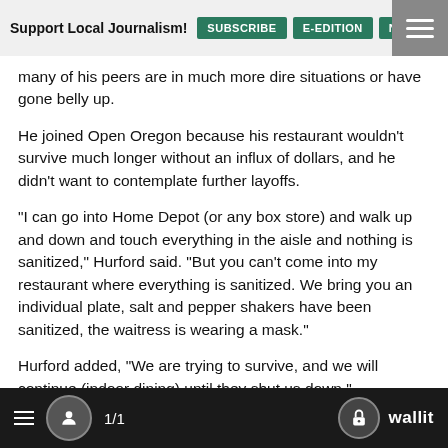Support Local Journalism! SUBSCRIBE E-EDITION NEWSLET
many of his peers are in much more dire situations or have gone belly up.
He joined Open Oregon because his restaurant wouldn't survive much longer without an influx of dollars, and he didn't want to contemplate further layoffs.
"I can go into Home Depot (or any box store) and walk up and down and touch everything in the aisle and nothing is sanitized," Hurford said. "But you can't come into my restaurant where everything is sanitized. We bring you an individual plate, salt and pepper shakers have been sanitized, the waitress is wearing a mask."
Hurford added, "We are trying to survive, and we will continue (indoor dining) until they shut us down."
1/1  wallit